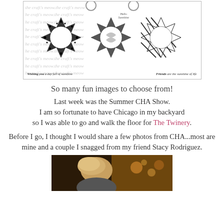[Figure (illustration): Stamp set product image showing three decorative sun/star shapes with patterned textures (polka dots, ornate, stripes), two ring binder holes at top, decorative repeating watermark text 'the craft's meow' in background, and two script sentiments: 'Wishing you a day full of sunshine' and 'Friends are the sunshine of life'. Small text 'Hello Sunshine' near top center.]
So many fun images to choose from!
Last week was the Summer CHA Show. I am so fortunate to have Chicago in my backyard so I was able to go and walk the floor for The Twinery.
Before I go, I thought I would share a few photos from CHA...most are mine and a couple I snagged from my friend Stacy Rodriguez.
[Figure (photo): Photograph of a blonde woman at what appears to be a trade show or event, with warm amber lighting and display items visible in the background.]